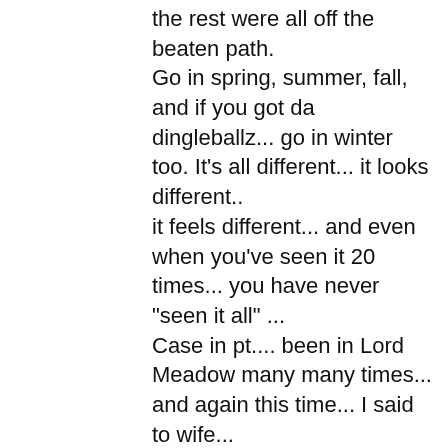the rest were all off the beaten path. Go in spring, summer, fall, and if you got da dingleballz... go in winter too. It's all different... it looks different.. it feels different... and even when you've seen it 20 times... you have never "seen it all" ... Case in pt.... been in Lord Meadow many many times... and again this time... I said to wife... "I just keep forgetting how nice this area really is" ... Total mileage was only 75 miles including hiking around after getting to campspot. Wife can't and doesn't want to go the crazy number and amount of times I do... so if she agrees to 6 days... Personally I have a really hard time just lounging around. On day 2 ... we got to Twin Lakes about 2pm... and I took a nap... told wife was gonna just hang... and that lasted 2 hours before off I went hiking up 600 ft. in search of markers. Go explore... get off the trail... that is where the good stuff is. Try to see it all... even if it's hard to do. It's a big reason why I had goal of touching every named lake in Yosemite... which has now been